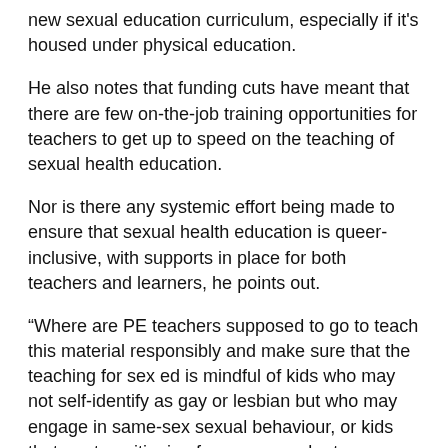new sexual education curriculum, especially if it's housed under physical education.
He also notes that funding cuts have meant that there are few on-the-job training opportunities for teachers to get up to speed on the teaching of sexual health education.
Nor is there any systemic effort being made to ensure that sexual health education is queer-inclusive, with supports in place for both teachers and learners, he points out.
“Where are PE teachers supposed to go to teach this material responsibly and make sure that the teaching for sex ed is mindful of kids who may not self-identify as gay or lesbian but who may engage in same-sex sexual behaviour, or kids that are transitioning from one gender to another?” Hansman asks.
“Either people are relying on things they find on